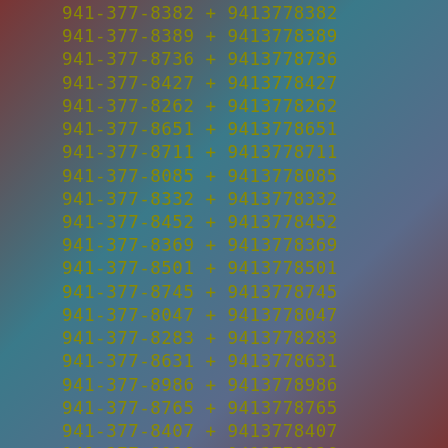| Phone |  | E164 |
| --- | --- | --- |
| 941-377-8382 | + | 9413778382 |
| 941-377-8389 | + | 9413778389 |
| 941-377-8736 | + | 9413778736 |
| 941-377-8427 | + | 9413778427 |
| 941-377-8262 | + | 9413778262 |
| 941-377-8651 | + | 9413778651 |
| 941-377-8711 | + | 9413778711 |
| 941-377-8085 | + | 9413778085 |
| 941-377-8332 | + | 9413778332 |
| 941-377-8452 | + | 9413778452 |
| 941-377-8369 | + | 9413778369 |
| 941-377-8501 | + | 9413778501 |
| 941-377-8745 | + | 9413778745 |
| 941-377-8047 | + | 9413778047 |
| 941-377-8283 | + | 9413778283 |
| 941-377-8631 | + | 9413778631 |
| 941-377-8986 | + | 9413778986 |
| 941-377-8765 | + | 9413778765 |
| 941-377-8407 | + | 9413778407 |
| 941-377-8936 | + | 9413778936 |
| 941-377-8695 | + | 9413778695 |
| 941-377-8183 | + | 9413778183 |
| 941-377-8378 | + | 9413778378 |